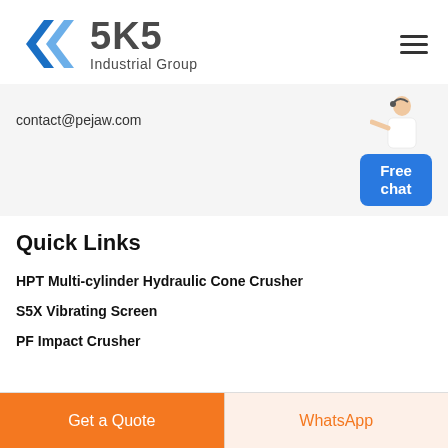[Figure (logo): SKS Industrial Group logo with blue diamond/angular S icon on left and bold gray 'SKS' text with 'Industrial Group' below]
contact@pejaw.com
Quick Links
HPT Multi-cylinder Hydraulic Cone Crusher
S5X Vibrating Screen
PF Impact Crusher
Get a Quote
WhatsApp